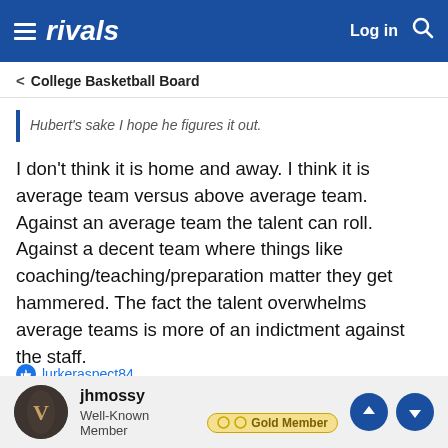rivals  Log in
< College Basketball Board
Hubert's sake I hope he figures it out.
I don't think it is home and away. I think it is average team versus above average team. Against an average team the talent can roll. Against a decent team where things like coaching/teaching/preparation matter they get hammered. The fact the talent overwhelms average teams is more of an indictment against the staff.
lurkeraspect84
jhmossy
Well-Known Member  Gold Member